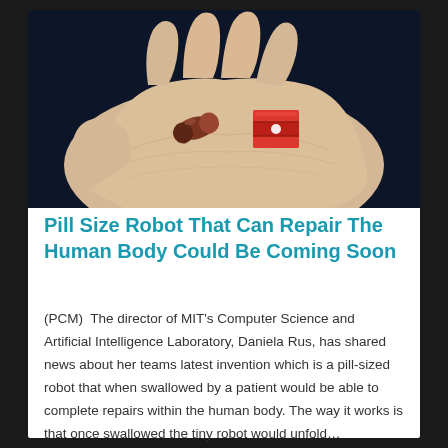[Figure (photo): A hand held open with palm facing up, showing two small objects: a brownish pill-shaped capsule on the left and a red folded origami-like robot structure on the right, against a dark blue background.]
Pill Size Robot That Can Repair The Human Body Could Be Coming Soon
(PCM)  The director of MIT's Computer Science and Artificial Intelligence Laboratory, Daniela Rus, has shared news about her teams latest invention which is a pill-sized robot that when swallowed by a patient would be able to complete repairs within the human body. The way it works is that once swallowed the tiny robot would unfold… Read More →